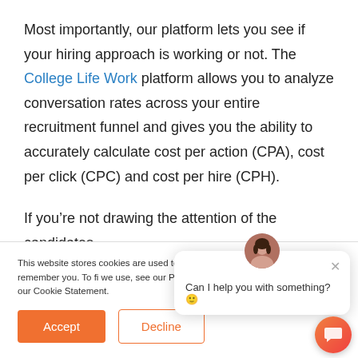Most importantly, our platform lets you see if your hiring approach is working or not. The College Life Work platform allows you to analyze conversation rates across your entire recruitment funnel and gives you the ability to accurately calculate cost per action (CPA), cost per click (CPC) and cost per hire (CPH).
If you're not drawing the attention of the candidates
This website stores cookies are used to you interact with our remember you. To fi we use, see our Priv "Accept," you agree with our Cookie Statement.
Can I help you with something? 🙂